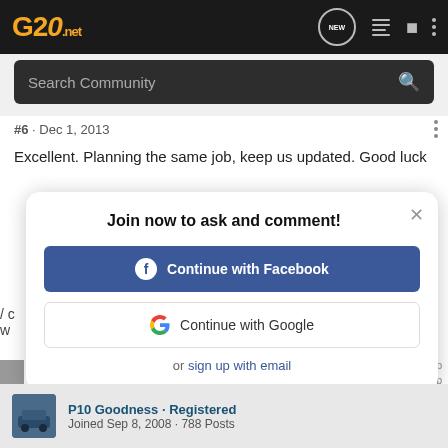G20.net
Search Community
#6 · Dec 1, 2013
Excellent. Planning the same job, keep us updated. Good luck
Join now to ask and comment!
Continue with Facebook
Continue with Google
or sign up with email
P10 Goodness · Registered
Joined Sep 8, 2008 · 788 Posts